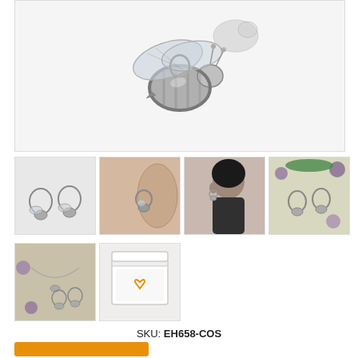[Figure (photo): Close-up photo of silver bee earring/charm pendant on white background]
[Figure (photo): Thumbnail: pair of silver bee hoop earrings on white background]
[Figure (photo): Thumbnail: close-up of silver bee earring on woman's ear]
[Figure (photo): Thumbnail: woman wearing silver bee hoop earrings, profile view]
[Figure (photo): Thumbnail: silver bee hoop earrings with purple flowers]
[Figure (photo): Thumbnail: silver bee earrings with necklace and purple flowers]
[Figure (photo): Thumbnail: white jewelry gift box with brand logo]
SKU: EH658-COS